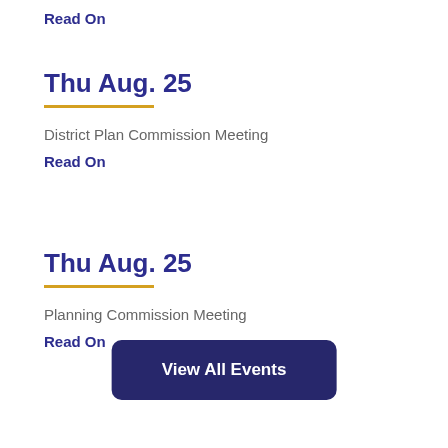Read On
Thu Aug. 25
District Plan Commission Meeting
Read On
Thu Aug. 25
Planning Commission Meeting
Read On
View All Events